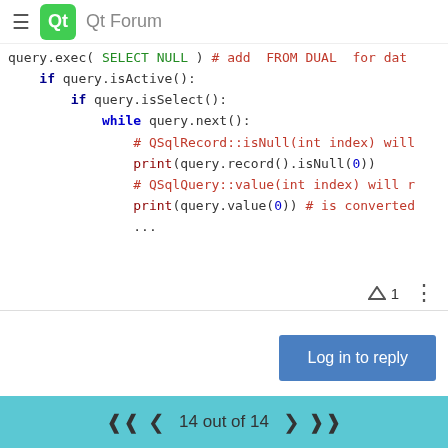Qt Forum
query.exec( SELECT NULL ) # add  FROM DUAL  for dat
    if query.isActive():
        if query.isSelect():
            while query.next():
                # QSqlRecord::isNull(int index) will
                print(query.record().isNull(0))
                # QSqlQuery::value(int index) will r
                print(query.value(0)) # is converted
                ...
^ 1  ⋮
Log in to reply
14 out of 14